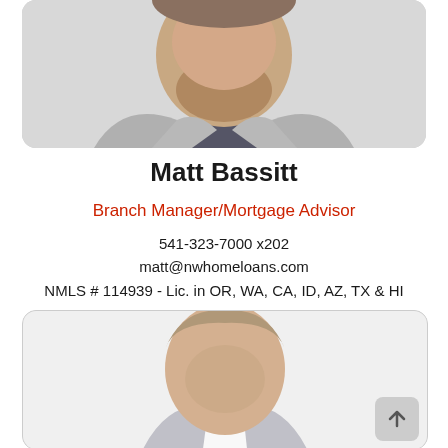[Figure (photo): Professional headshot of Matt Bassitt, a man wearing a grey blazer and dark shirt, photographed from chest up against a neutral background. Top portion of a rounded-corner card.]
Matt Bassitt
Branch Manager/Mortgage Advisor
541-323-7000 x202
matt@nwhomeloans.com
NMLS # 114939 - Lic. in OR, WA, CA, ID, AZ, TX & HI
[Figure (photo): Professional headshot of a second person (younger man, light hair) partially visible at the bottom of the page in a rounded-corner card.]